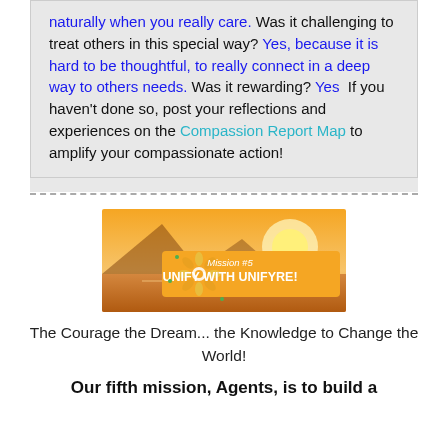naturally when you really care. Was it challenging to treat others in this special way? Yes, because it is hard to be thoughtful, to really connect in a deep way to others needs. Was it rewarding? Yes  If you haven't done so, post your reflections and experiences on the Compassion Report Map to amplify your compassionate action!
[Figure (illustration): Mission #5 UNIFY WITH UNIFYRE! banner image with sunset background and decorative mandala/flower icon]
The Courage the Dream... the Knowledge to Change the World!
Our fifth mission, Agents, is to build a